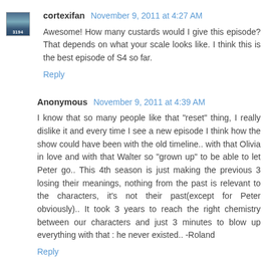cortexifan November 9, 2011 at 4:27 AM
Awesome! How many custards would I give this episode? That depends on what your scale looks like. I think this is the best episode of S4 so far.
Reply
Anonymous November 9, 2011 at 4:39 AM
I know that so many people like that "reset" thing, I really dislike it and every time I see a new episode I think how the show could have been with the old timeline.. with that Olivia in love and with that Walter so "grown up" to be able to let Peter go.. This 4th season is just making the previous 3 losing their meanings, nothing from the past is relevant to the characters, it's not their past(except for Peter obviously).. It took 3 years to reach the right chemistry between our characters and just 3 minutes to blow up everything with that : he never existed.. -Roland
Reply